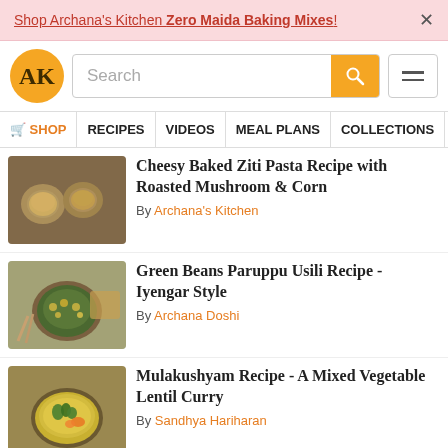Shop Archana's Kitchen Zero Maida Baking Mixes! ×
[Figure (logo): Archana's Kitchen logo - AK in golden circle]
Search
SHOP | RECIPES | VIDEOS | MEAL PLANS | COLLECTIONS | AR...
[Figure (photo): Cheesy Baked Ziti Pasta with Roasted Mushroom and Corn - baked pasta in ramekins]
Cheesy Baked Ziti Pasta Recipe with Roasted Mushroom & Corn
By Archana's Kitchen
[Figure (photo): Green Beans Paruppu Usili - green beans with lentils in bowl]
Green Beans Paruppu Usili Recipe - Iyengar Style
By Archana Doshi
[Figure (photo): Mulakushyam - yellow mixed vegetable lentil curry in bowl]
Mulakushyam Recipe - A Mixed Vegetable Lentil Curry
By Sandhya Hariharan